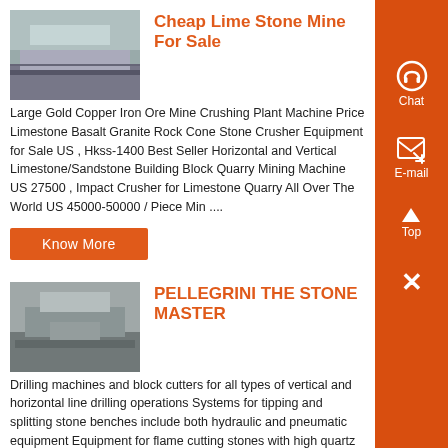Cheap Lime Stone Mine For Sale
Large Gold Copper Iron Ore Mine Crushing Plant Machine Price Limestone Basalt Granite Rock Cone Stone Crusher Equipment for Sale US , Hkss-1400 Best Seller Horizontal and Vertical Limestone/Sandstone Building Block Quarry Mining Machine US 27500 , Impact Crusher for Limestone Quarry All Over The World US 45000-50000 / Piece Min ....
Know More
PELLEGRINI THE STONE MASTER
Drilling machines and block cutters for all types of vertical and horizontal line drilling operations Systems for tipping and splitting stone benches include both hydraulic and pneumatic equipment Equipment for flame cutting stones with high quartz content Heavy duty chain saws for sedimentary stones for both vertical and horizontal cuts...
Know More
[Figure (other): Chat icon with headphones]
[Figure (other): E-mail icon]
[Figure (other): Top arrow icon]
[Figure (other): Close X icon]